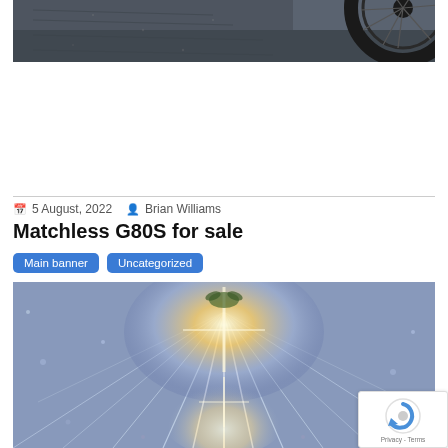[Figure (photo): Partial view of a dark motorcycle with a visible wheel/tire at the top right, dark grungy background]
5 August, 2022   Brian Williams
Matchless G80S for sale
Main banner
Uncategorized
[Figure (photo): Bright glowing marquee tent interior with sparkling lights and light rays emanating from the center, white fabric ceiling with star-like bokeh]